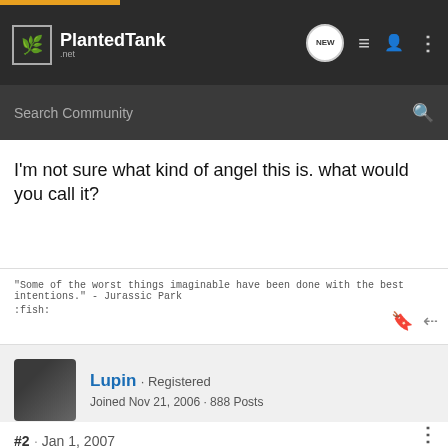[Figure (screenshot): PlantedTank.net navigation bar with logo, search bar, and icons]
I'm not sure what kind of angel this is. what would you call it?
"Some of the worst things imaginable have been done with the best intentions." - Jurassic Park
:fish:
[Figure (photo): User avatar for Lupin - dark photo]
Lupin · Registered
Joined Nov 21, 2006 · 888 Posts
#2 · Jan 1, 2007